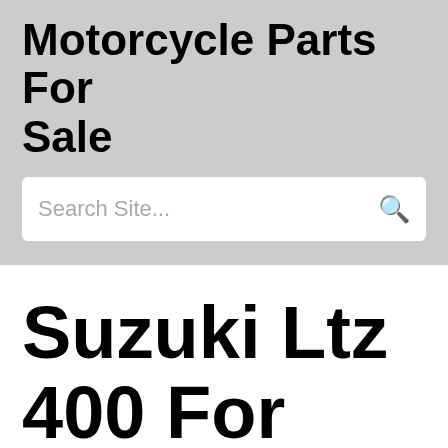Motorcycle Parts For Sale
Search Site...
Suzuki Ltz 400 For Sale